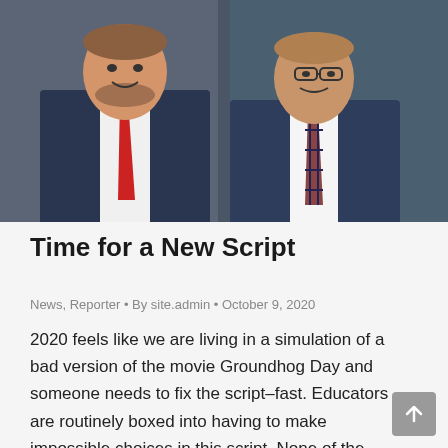[Figure (photo): Two men in dark suits standing side by side. The man on the left wears a bright red tie and has a beard. The man on the right wears glasses and a red and blue plaid/checkered tie. Background is dark gray.]
Time for a New Script
News, Reporter • By site.admin • October 9, 2020
2020 feels like we are living in a simulation of a bad version of the movie Groundhog Day and someone needs to fix the script–fast. Educators are routinely boxed into having to make impossible choices in this script. None of the